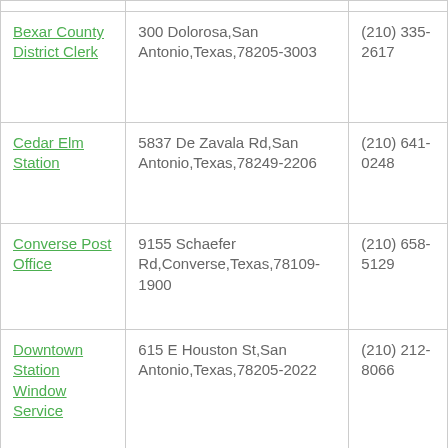| Name | Address | Phone |
| --- | --- | --- |
| Bexar County District Clerk | 300 Dolorosa,San Antonio,Texas,78205-3003 | (210) 335-2617 |
| Cedar Elm Station | 5837 De Zavala Rd,San Antonio,Texas,78249-2206 | (210) 641-0248 |
| Converse Post Office | 9155 Schaefer Rd,Converse,Texas,78109-1900 | (210) 658-5129 |
| Downtown Station Window Service | 615 E Houston St,San Antonio,Texas,78205-2022 | (210) 212-8066 |
| Elmendorf | 8302 FM- | (210) |